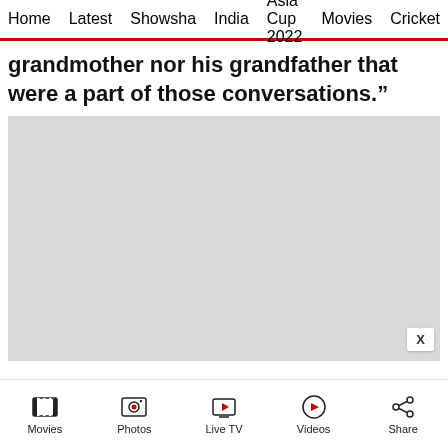Home  Latest  Showsha  India  Asia Cup 2022  Movies  Cricket
grandmother nor his grandfather that were a part of those conversations.”
[Figure (other): Gray advertisement/video placeholder rectangle with an X close button in the bottom right corner]
Movies  Photos  Live TV  Videos  Share